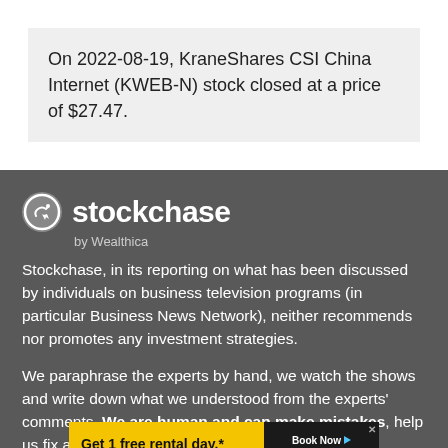On 2022-08-19, KraneShares CSI China Internet (KWEB-N) stock closed at a price of $27.47.
[Figure (logo): Stockchase by Wealthica logo — circular icon with hand and cursor, white text on dark grey background]
Stockchase, in its reporting on what has been discussed by individuals on business television programs (in particular Business News Network), neither recommends nor promotes any investment strategies.
We paraphrase the experts by hand, we watch the shows and write down what we understood from the experts' comments. We are human and can make mistakes, help us fix any e... ...ot right or if the... ...us at :
[Figure (other): Hertz advertisement banner: 'Get 1 free rental day.* Hertz. Let's Go!' with Book Now button on yellow background]